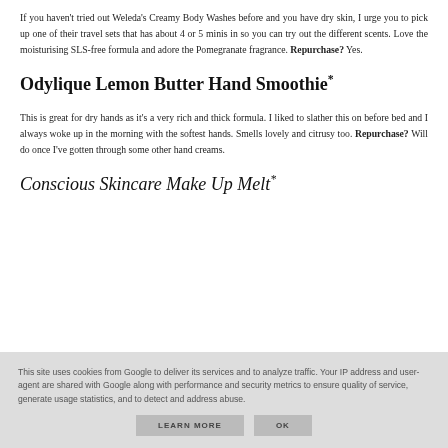If you haven't tried out Weleda's Creamy Body Washes before and you have dry skin, I urge you to pick up one of their travel sets that has about 4 or 5 minis in so you can try out the different scents. Love the moisturising SLS-free formula and adore the Pomegranate fragrance. Repurchase? Yes.
Odylique Lemon Butter Hand Smoothie*
This is great for dry hands as it's a very rich and thick formula. I liked to slather this on before bed and I always woke up in the morning with the softest hands. Smells lovely and citrusy too. Repurchase? Will do once I've gotten through some other hand creams.
Conscious Skincare Make Up Melt*
This site uses cookies from Google to deliver its services and to analyze traffic. Your IP address and user-agent are shared with Google along with performance and security metrics to ensure quality of service, generate usage statistics, and to detect and address abuse.